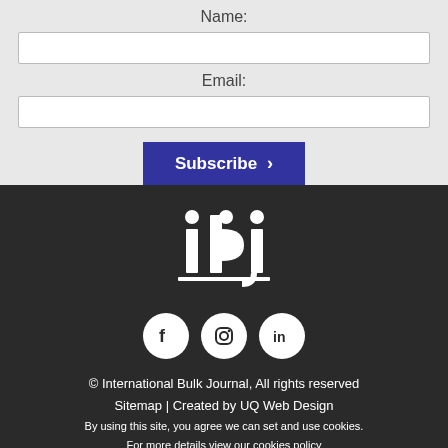Name:
Email:
Subscribe >
[Figure (logo): IBJ (International Bulk Journal) logo in white on dark background]
[Figure (infographic): Social media icons: Facebook, Instagram, LinkedIn — white circles on dark background]
© International Bulk Journal, All rights reserved
Sitemap | Created by UQ Web Design
By using this site, you agree we can set and use cookies.
For more details view our cookies policy
Back to top